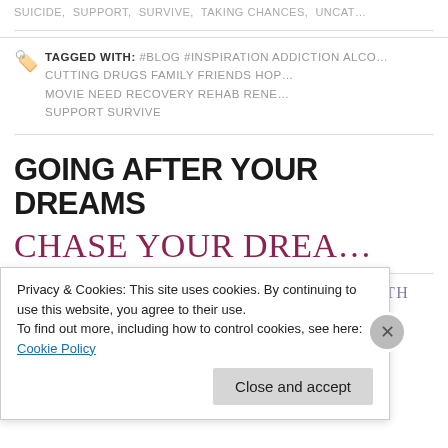SUICIDE, SUPPORT, SURVIVE, TAKING CHANCES, UNCAT…
TAGGED WITH: #BLOG #INSPIRATION ADDICTION ALCO… CUTTING DRUGS FAMILY FRIENDS HOP… MOVIE NEED RECOVERY REHAB RENE… SUPPORT SURVIVE
GOING AFTER YOUR DREAMS
CHASE YOUR DREA…
WHEN I WAS ABOUT 10 I FELL IN LOVE WITH REA… RI… Y O… HA…
Privacy & Cookies: This site uses cookies. By continuing to use this website, you agree to their use.
To find out more, including how to control cookies, see here: Cookie Policy
Close and accept